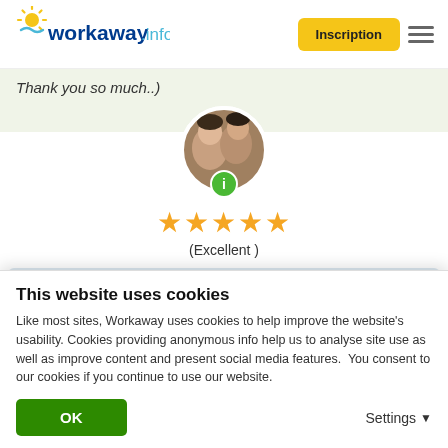workaway.info — Inscription (header navigation)
Thank you so much..)
[Figure (photo): Circular profile photo of two people (couple), with a green info badge below]
★★★★★ (Excellent)
30.07.2019
Laissé par l'hôte pour le workawayer (Balint & Hajnalka)
Any host would love Balint, he is great with people and can work on tasks both as a team and independently. Thank
This website uses cookies
Like most sites, Workaway uses cookies to help improve the website's usability. Cookies providing anonymous info help us to analyse site use as well as improve content and present social media features.  You consent to our cookies if you continue to use our website.
OK   Settings